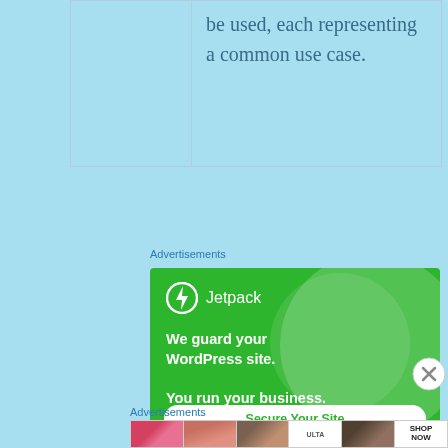|  |  |
| --- | --- |
|  | be used, each representing a common use case. |
Advertisements
[Figure (illustration): Jetpack advertisement banner with green background. Logo shows a lightning bolt in a circle next to 'Jetpack'. Text reads: 'We guard your WordPress site. You run your business.' with a 'Secure Your Site' button.]
Advertisements
[Figure (illustration): Ulta Beauty bottom advertisement strip showing cosmetic images: lips with lipstick, makeup brush, eye closeup, Ulta logo, eye with makeup, and 'SHOP NOW' text.]